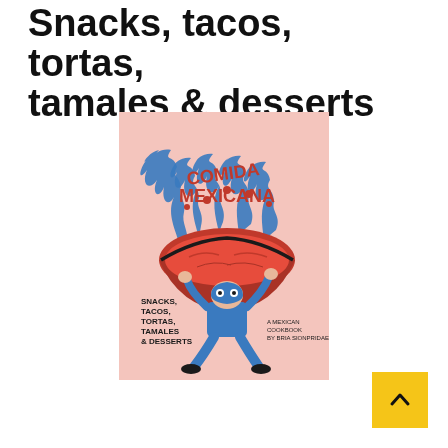Snacks, tacos, tortas, tamales & desserts
[Figure (illustration): Book cover of 'Comida Mexicana' - A Mexican Cookbook by Bria Sionpridae. Pink background with illustrated red taco and blue flames on top with text 'COMIDA MEXICANA' in red arched lettering. A blue luchador wrestler figure holds the giant taco overhead. Text on cover reads: SNACKS, TACOS, TORTAS, TAMALES & DESSERTS. A MEXICAN COOKBOOK BY BRIA SIONPRIDAE.]